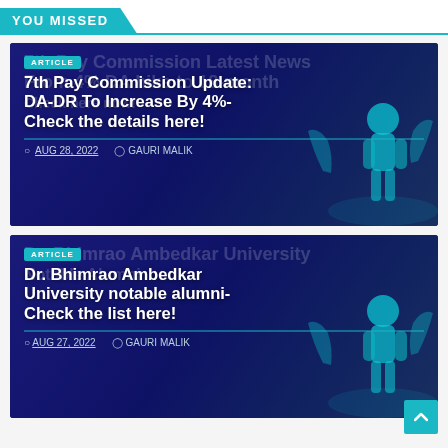YOU MISSED
[Figure (illustration): News card with dark blue background and illustration of person. Title: 7th Pay Commission Latest News From 4% DA hike to 18-month. Article badge visible. Sub-headline: 7th Pay Commission Update: DA-DR To Increase By 4%- Check the details here!]
AUG 28, 2022  GAURI MALIK
[Figure (illustration): News card with dark blue background and illustration of person. Title: Dr. Bhimrao Ambedkar University Notable Alumni. Article badge visible. Sub-headline: Dr. Bhimrao Ambedkar University notable alumni- Check the list here!]
AUG 27, 2022  GAURI MALIK